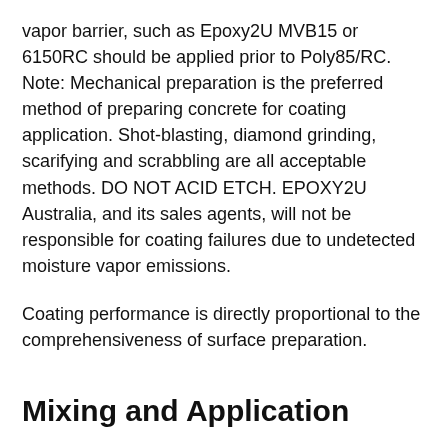vapor barrier, such as Epoxy2U MVB15 or 6150RC should be applied prior to Poly85/RC. Note: Mechanical preparation is the preferred method of preparing concrete for coating application. Shot-blasting, diamond grinding, scarifying and scrabbling are all acceptable methods. DO NOT ACID ETCH. EPOXY2U Australia, and its sales agents, will not be responsible for coating failures due to undetected moisture vapor emissions.
Coating performance is directly proportional to the comprehensiveness of surface preparation.
Mixing and Application
The ratio of E2U Poly85/RC is 1 to 1. That is, one part A (resin) to one part B (hardener) by volume. Mix these